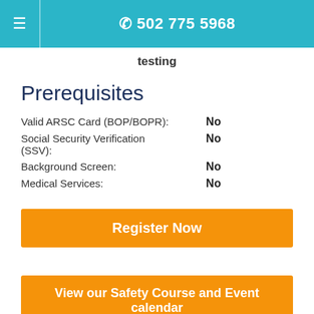☰  502 775 5968
testing
Prerequisites
Valid ARSC Card (BOP/BOPR): No
Social Security Verification (SSV): No
Background Screen: No
Medical Services: No
Register Now
View our Safety Course and Event calendar